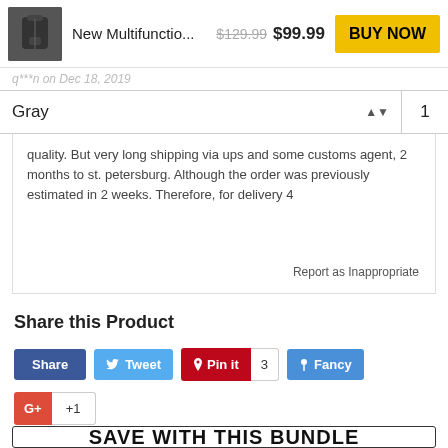New Multifunctio... $129.99 $99.99 BUY NOW
q***n on Dec 18, 2019
from Aliexpress. The button highlight the commend that quality. But very long shipping via ups and some customs agent, 2 months to st. petersburg. Although the order was previously estimated in 2 weeks. Therefore, for delivery 4
Report as Inappropriate
Share this Product
Share  Tweet  Pin it 3  Fancy  G+ +1